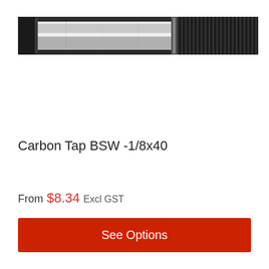[Figure (photo): Close-up photograph of a carbon tap tool BSW 1/8x40, showing a metallic cylindrical tool with a shiny smooth shaft on the left and dark threaded section on the right against a white background]
Carbon Tap BSW -1/8x40
From $8.34 Excl GST
See Options